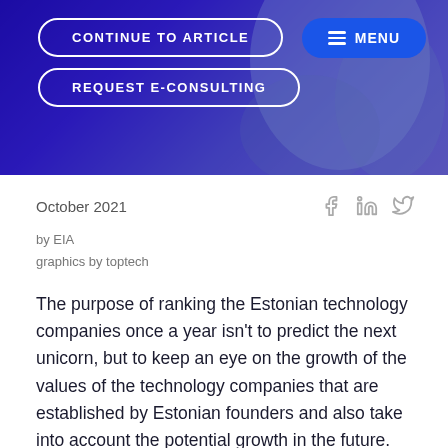[Figure (photo): Hero banner with blue/purple gradient background and two rounded button outlines (CONTINUE TO ARTICLE, REQUEST E-CONSULTING) and a blue MENU button in the top right corner.]
October 2021
by EIA
graphics by toptech
The purpose of ranking the Estonian technology companies once a year isn't to predict the next unicorn, but to keep an eye on the growth of the values of the technology companies that are established by Estonian founders and also take into account the potential growth in the future. The aim is to provide a comparable assessment of the value of companies at a specific point in time based on a